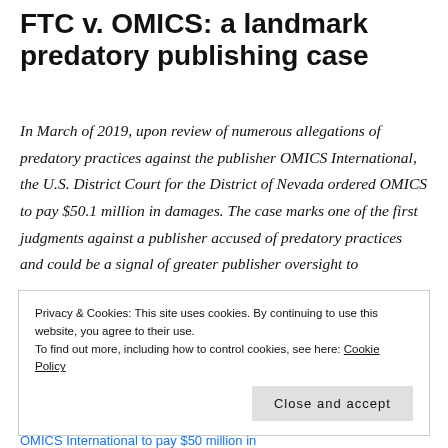FTC v. OMICS: a landmark predatory publishing case
In March of 2019, upon review of numerous allegations of predatory practices against the publisher OMICS International, the U.S. District Court for the District of Nevada ordered OMICS to pay $50.1 million in damages. The case marks one of the first judgments against a publisher accused of predatory practices and could be a signal of greater publisher oversight to
Privacy & Cookies: This site uses cookies. By continuing to use this website, you agree to their use. To find out more, including how to control cookies, see here: Cookie Policy
Close and accept
OMICS International to pay $50 million in